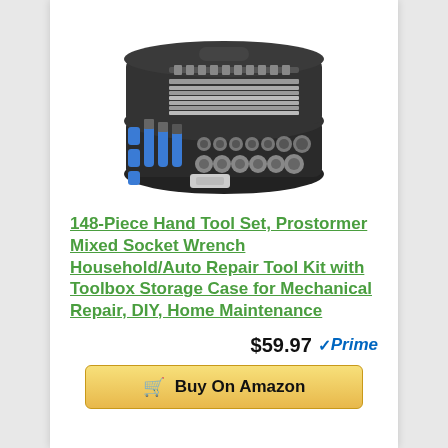[Figure (photo): 148-piece hand tool set in an open black and blue toolbox case showing sockets, wrenches, and various hand tools organized in foam inserts]
148-Piece Hand Tool Set, Prostormer Mixed Socket Wrench Household/Auto Repair Tool Kit with Toolbox Storage Case for Mechanical Repair, DIY, Home Maintenance
$59.97 Prime
Buy On Amazon